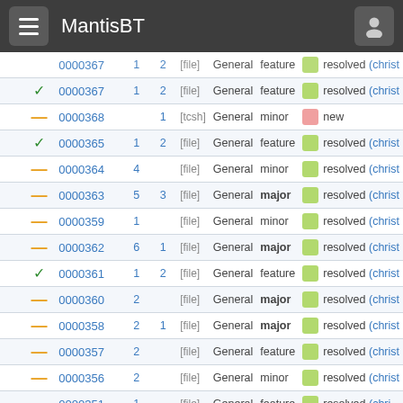MantisBT
|  |  | ID | # | # | Tag | Category | Severity | Status |
| --- | --- | --- | --- | --- | --- | --- | --- | --- |
|  |  | 0000367 | 1 | 2 | [file] | General | feature | resolved (christ |
|  | – | 0000368 |  | 1 | [tcsh] | General | minor | new |
|  |  | 0000365 | 1 | 2 | [file] | General | feature | resolved (christ |
|  | – | 0000364 | 4 |  | [file] | General | minor | resolved (christ |
|  | – | 0000363 | 5 | 3 | [file] | General | major | resolved (christ |
|  | – | 0000359 | 1 |  | [file] | General | minor | resolved (christ |
|  | – | 0000362 | 6 | 1 | [file] | General | major | resolved (christ |
|  |  | 0000361 | 1 | 2 | [file] | General | feature | resolved (christ |
|  | – | 0000360 | 2 |  | [file] | General | major | resolved (christ |
|  | – | 0000358 | 2 | 1 | [file] | General | major | resolved (christ |
|  | – | 0000357 | 2 |  | [file] | General | feature | resolved (christ |
|  | – | 0000356 | 2 |  | [file] | General | minor | resolved (christ |
|  |  | 0000351 | 1 |  | [file] | General | feature | resolved (chri |